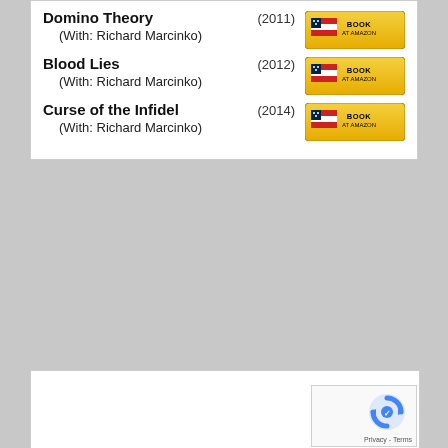Domino Theory (2011) (With: Richard Marcinko)
Blood Lies (2012) (With: Richard Marcinko)
Curse of the Infidel (2014) (With: Richard Marcinko)
[Figure (screenshot): reCAPTCHA widget with Privacy and Terms links]